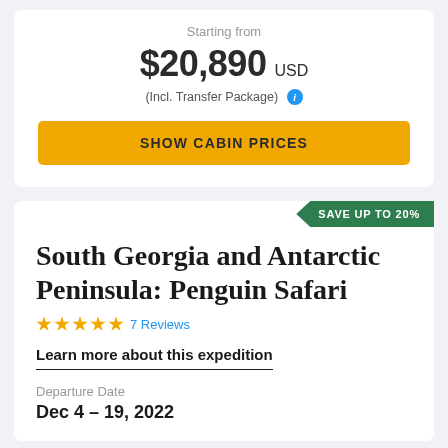Starting from
$20,890 USD
(Incl. Transfer Package) ℹ
SHOW CABIN PRICES
SAVE UP TO 20%
South Georgia and Antarctic Peninsula: Penguin Safari
★★★★★ 7 Reviews
Learn more about this expedition
Departure Date
Dec 4 – 19, 2022